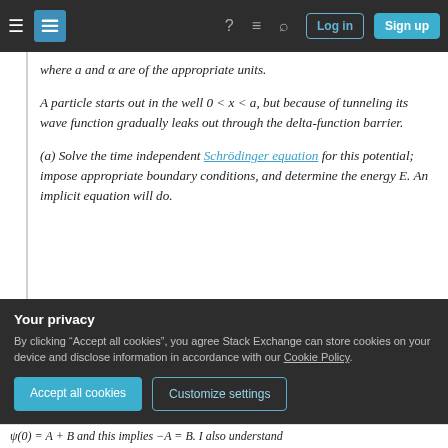Stack Exchange navigation bar with Log in and Sign up buttons
where a and α are of the appropriate units.
A particle starts out in the well 0 < x < a, but because of tunneling its wave function gradually leaks out through the delta-function barrier.
(a) Solve the time independent Schrödinger equation for this potential; impose appropriate boundary conditions, and determine the energy E. An implicit equation will do.
Your privacy
By clicking "Accept all cookies", you agree Stack Exchange can store cookies on your device and disclose information in accordance with our Cookie Policy.
Accept all cookies | Customize settings